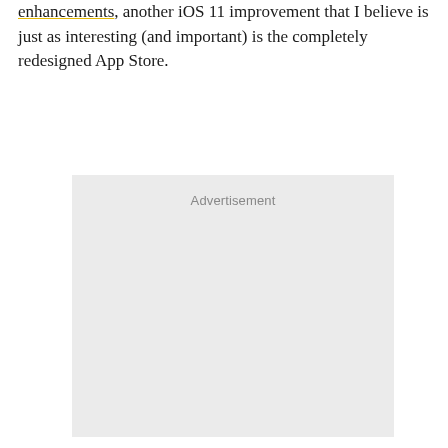enhancements, another iOS 11 improvement that I believe is just as interesting (and important) is the completely redesigned App Store.
[Figure (other): Advertisement placeholder box with light gray background and 'Advertisement' label at the top center]